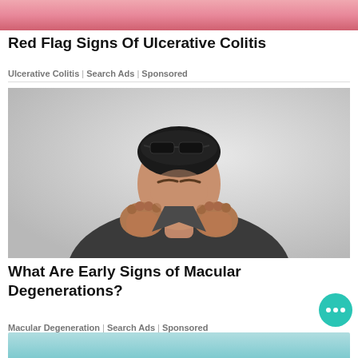[Figure (photo): Partial top image of a person, cropped at top of page]
Red Flag Signs Of Ulcerative Colitis
Ulcerative Colitis | Search Ads | Sponsored
[Figure (photo): Man with glasses on his head, rubbing his eyes with both fists, wearing a dark shirt, against a light grey background]
What Are Early Signs of Macular Degenerations?
Macular Degeneration | Search Ads | Sponsored
[Figure (photo): Partial bottom image cropped at bottom of page, appears to show a light blue/teal scene]